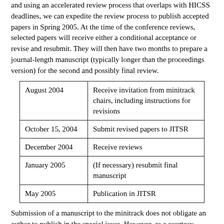and using an accelerated review process that overlaps with HICSS deadlines, we can expedite the review process to publish accepted papers in Spring 2005. At the time of the conference reviews, selected papers will receive either a conditional acceptance or revise and resubmit. They will then have two months to prepare a journal-length manuscript (typically longer than the proceedings version) for the second and possibly final review.
| August 2004 | Receive invitation from minitrack chairs, including instructions for revisions |
| October 15, 2004 | Submit revised papers to JITSR |
| December 2004 | Receive reviews |
| January 2005 | (If necessary) resubmit final manuscript |
| May 2005 | Publication in JITSR |
Submission of a manuscript to the minitrack does not obligate an author to publish in the special issue. However, as a courtesy, authors will be expected to make a prompt decision after receipt of